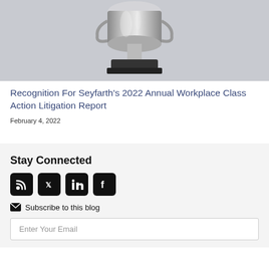[Figure (photo): Silver trophy on a dark base against a gray background, cropped to show the top portion.]
Recognition For Seyfarth’s 2022 Annual Workplace Class Action Litigation Report
February 4, 2022
Stay Connected
[Figure (infographic): Social media icons: RSS feed, Twitter, LinkedIn, Facebook]
✉ Subscribe to this blog
Enter Your Email